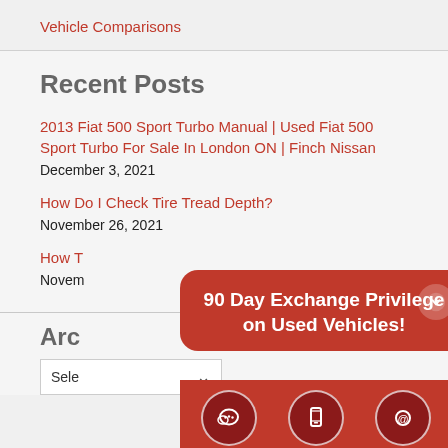Vehicle Comparisons
Recent Posts
2013 Fiat 500 Sport Turbo Manual | Used Fiat 500 Sport Turbo For Sale In London ON | Finch Nissan
December 3, 2021
How Do I Check Tire Tread Depth?
November 26, 2021
How T...
Novem...
Archives
Sele...
[Figure (infographic): Red popup overlay showing '90 Day Exchange Privilege on Used Vehicles!' with a down arrow button, and a red bottom bar with Chat, Text, and Email icon buttons]